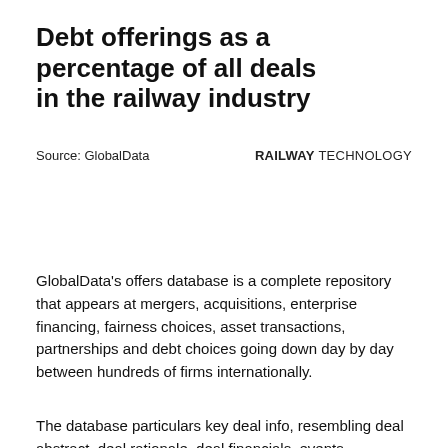Debt offerings as a percentage of all deals in the railway industry
Source: GlobalData
RAILWAY TECHNOLOGY
GlobalData's offers database is a complete repository that appears at mergers, acquisitions, enterprise financing, fairness choices, asset transactions, partnerships and debt choices going down day by day between hundreds of firms internationally.
The database particulars key deal info, resembling deal abstract, deal rationale, deal financials, events concerned